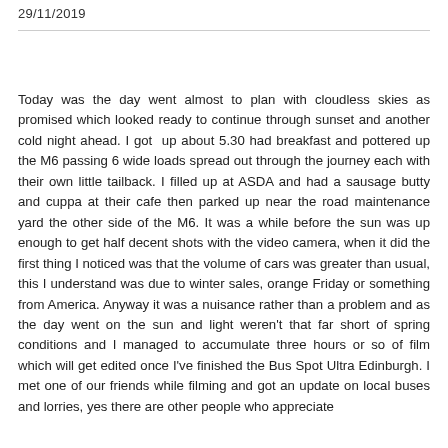29/11/2019
Today was the day went almost to plan with cloudless skies as promised which looked ready to continue through sunset and another cold night ahead. I got up about 5.30 had breakfast and pottered up the M6 passing 6 wide loads spread out through the journey each with their own little tailback. I filled up at ASDA and had a sausage butty and cuppa at their cafe then parked up near the road maintenance yard the other side of the M6. It was a while before the sun was up enough to get half decent shots with the video camera, when it did the first thing I noticed was that the volume of cars was greater than usual, this I understand was due to winter sales, orange Friday or something from America. Anyway it was a nuisance rather than a problem and as the day went on the sun and light weren't that far short of spring conditions and I managed to accumulate three hours or so of film which will get edited once I've finished the Bus Spot Ultra Edinburgh. I met one of our friends while filming and got an update on local buses and lorries, yes there are other people who appreciate